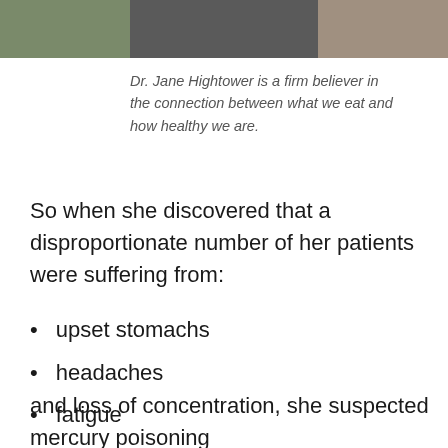[Figure (photo): A cropped photo strip showing parts of a person outdoors, split across three segments in a header band.]
Dr. Jane Hightower is a firm believer in the connection between what we eat and how healthy we are.
So when she discovered that a disproportionate number of her patients were suffering from:
upset stomachs
headaches
fatigue
and loss of concentration, she suspected mercury poisoning